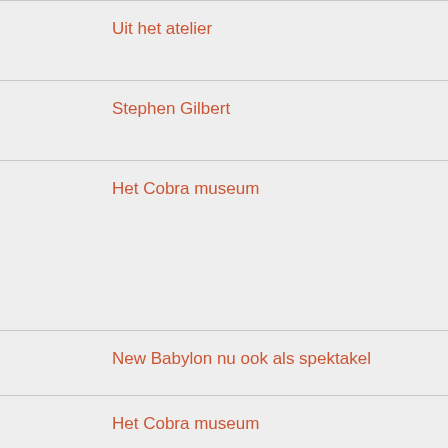Uit het atelier
Stephen Gilbert
Het Cobra museum
New Babylon nu ook als spektakel
Het Cobra museum